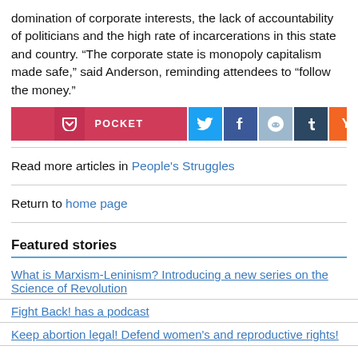domination of corporate interests, the lack of accountability of politicians and the high rate of incarcerations in this state and country. “The corporate state is monopoly capitalism made safe,” said Anderson, reminding attendees to “follow the money.”
[Figure (infographic): Social share buttons: Pocket, Twitter, Facebook, Reddit, Tumblr, Hacker News (Y), Email]
Read more articles in People’s Struggles
Return to home page
Featured stories
What is Marxism-Leninism? Introducing a new series on the Science of Revolution
Fight Back! has a podcast
Keep abortion legal! Defend women’s and reproductive rights!